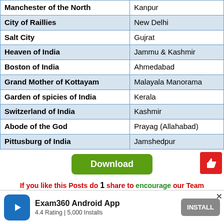| Nickname | Place |
| --- | --- |
| Manchester of the North | Kanpur |
| City of Raillies | New Delhi |
| Salt City | Gujrat |
| Heaven of India | Jammu & Kashmir |
| Boston of India | Ahmedabad |
| Grand Mother of Kottayam | Malayala Manorama |
| Garden of spicies of India | Kerala |
| Switzerland of India | Kashmir |
| Abode of the God | Prayag (Allahabad) |
| Pittusburg of India | Jamshedpur |
[Figure (other): Green Download button]
[Figure (other): Red thumbs-up button]
If you like this Posts do 1 share to encourage our Team Members
Exam360 Android App | 4.4 Rating | 5,000 Installs | INSTALL